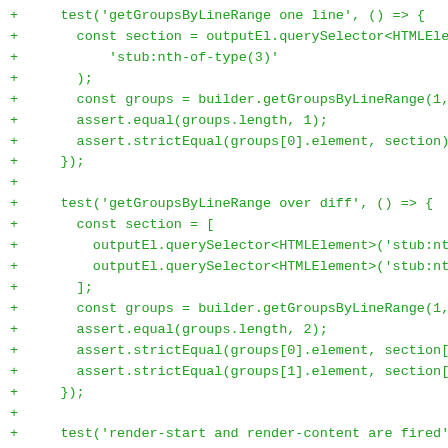[Figure (screenshot): Code diff screenshot showing JavaScript/TypeScript test code in green monospace font on white background. Lines show two test blocks: 'getGroupsByLineRange one line' and 'getGroupsByLineRange over diff', followed by the start of a third test for 'render-start and render-content are fired'. Each line is prefixed with a '+' indicating added lines in a diff view.]